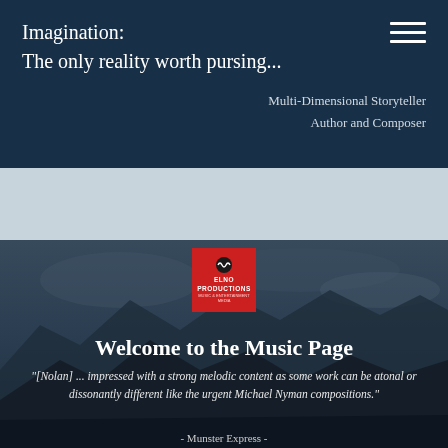Imagination:
The only reality worth pursing...
Multi-Dimensional Storyteller
Author and Composer
[Figure (logo): Red square logo with waveform icon and text 'ELNO PRODUCTIONS' in white on red background]
Welcome to the Music Page
"[Nolan] ... impressed with a strong melodic content as some work can be atonal or dissonantly different like the urgent Michael Nyman compositions."
- Munster Express -